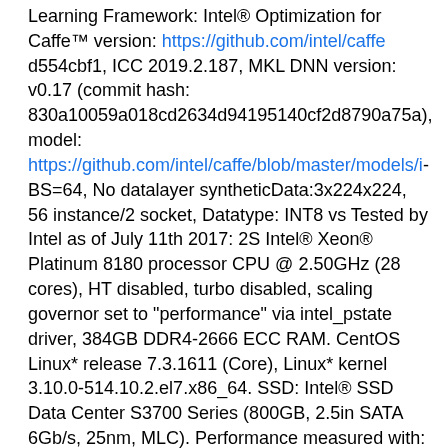Learning Framework: Intel® Optimization for Caffe™ version: https://github.com/intel/caffe d554cbf1, ICC 2019.2.187, MKL DNN version: v0.17 (commit hash: 830a10059a018cd2634d94195140cf2d8790a75a), model: https://github.com/intel/caffe/blob/master/models/i... BS=64, No datalayer syntheticData:3x224x224, 56 instance/2 socket, Datatype: INT8 vs Tested by Intel as of July 11th 2017: 2S Intel® Xeon® Platinum 8180 processor CPU @ 2.50GHz (28 cores), HT disabled, turbo disabled, scaling governor set to "performance" via intel_pstate driver, 384GB DDR4-2666 ECC RAM. CentOS Linux* release 7.3.1611 (Core), Linux* kernel 3.10.0-514.10.2.el7.x86_64. SSD: Intel® SSD Data Center S3700 Series (800GB, 2.5in SATA 6Gb/s, 25nm, MLC). Performance measured with: Environment variables: KMP_AFFINITY='granularity=fine, compact', OMP_NUM_THREADS=56, CPU freq set with CPU Power frequency-set -d 2.5G -u 3.8G -g performance. Caffe: (http://github.com/intel/caffe/), revision f96b759f71b2281835f690af267158b82b150b5c. Inference measured with "caffe time --forward_only" command, training measured with "caffe time" command. For "ConvNet" topologies, synthetic dataset was used. For